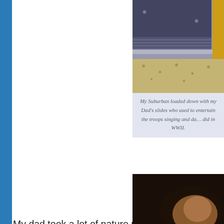[Figure (photo): Photo of the back of a Suburban vehicle loaded with slides, taken from behind showing the rear bumper and a yellow frame element]
My Suburban loaded down with my Dad's slides who used to entertain the troops singing and da... did in WWII.
My dad took a lot of nature photography, anim... made a calendar for many years with his best... a lot of those types of pictures but was hoping... well.  I was not to be disappointed!
[Figure (photo): Portrait photo of a person, partially visible, dark background with warm lighting on subject's head]